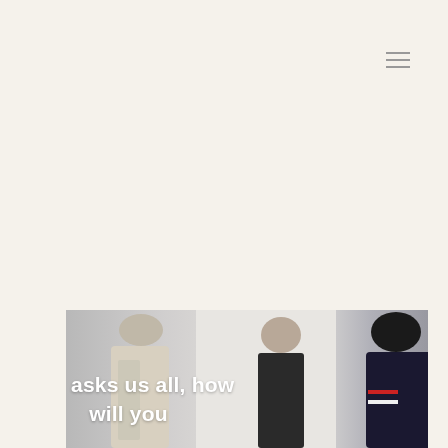[Figure (other): Hamburger/menu icon (three horizontal lines) in the upper right area of the page]
[Figure (photo): Photograph of people in a meeting or conference setting, partially cropped, with white overlay text reading 'asks us all, how will you']